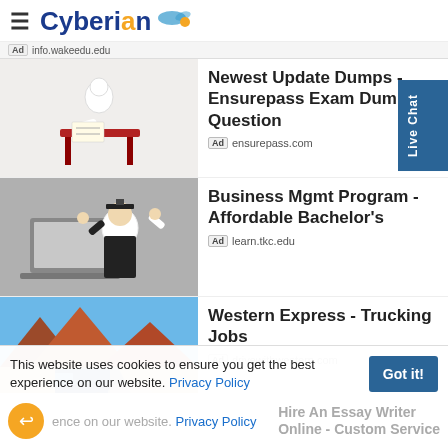Cyberian
Ad info.wakeedu.edu
[Figure (photo): 3D figure of person sitting at a red desk studying]
Newest Update Dumps - Ensurepass Exam Dumps Question
Ad ensurepass.com
[Figure (photo): Graduate in cap and gown celebrating with laptop]
Business Mgmt Program - Affordable Bachelor's
Ad learn.tkc.edu
[Figure (photo): Blue semi-truck on desert highway with red rock formations]
Western Express - Trucking Jobs
Ad drivewithwestern.com
This website uses cookies to ensure you get the best experience on our website. Privacy Policy
Got it!
Hire An Essay Writer Online - Custom Service